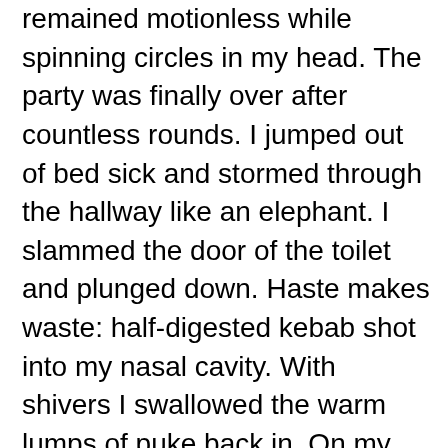remained motionless while spinning circles in my head. The party was finally over after countless rounds. I jumped out of bed sick and stormed through the hallway like an elephant. I slammed the door of the toilet and plunged down. Haste makes waste: half-digested kebab shot into my nasal cavity. With shivers I swallowed the warm lumps of puke back in. On my knees I begged for forgiveness, yearned for redemption from all the excesses and sins. It was too little too late. This bucket had to be completely emptied, the head remained down in the potty. Snoring from the nearby toilet ceased due to all my noise. He strolled away after some inaudible mumbling. I continued my recovery in peace, just until the drainage of vomit, piss, sweat and diarrhea came to an end. Horrified I looked in the mirror at a pale ghost and drank some water. While swearing and moaning I walked outside for some fresh air. Oh